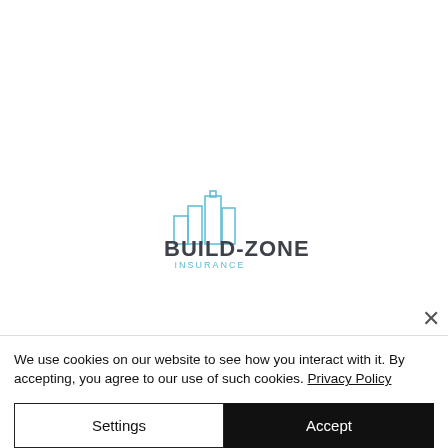[Figure (logo): Build-Zone Insurance logo: building skyline icon in light blue above the text 'BUILD-ZONE' in dark gray bold and 'INSURANCE' in light blue small caps]
We use cookies on our website to see how you interact with it. By accepting, you agree to our use of such cookies. Privacy Policy
Settings
Accept